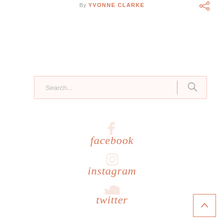By YVONNE CLARKE
[Figure (illustration): Search bar with placeholder text 'Search...' and a search icon on the right, separated by a vertical divider line]
facebook
instagram
twitter
[Figure (illustration): Back to top button: a square with an upward-pointing chevron/arrow inside, in salmon/coral color]